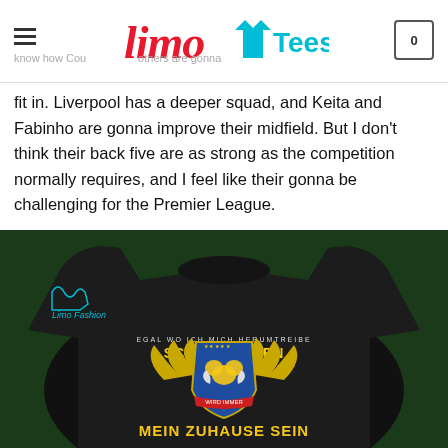Limo Tees
have several top-class players in various positions. But Suarez not been with more than and we still don't know how Coutinho others are gonna fit in. Liverpool has a deeper squad, and Keita and Fabinho are gonna improve their midfield. But I don't think their back five are as strong as the competition normally requires, and I feel like their gonna be challenging for the Premier League.
[Figure (photo): Black sweatshirt with Schönhausen crest design on the chest. Text reads: EGAL WO ICH MICH HERUMTREIBE / SCHÖNHAUSEN / WIRD IMMER / MEIN ZUHAUSE SEIN. Limo Fashion logo in top-left corner of image.]